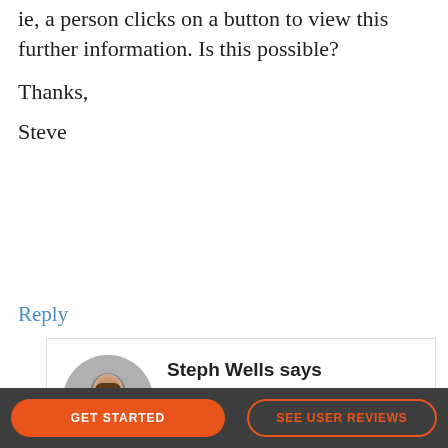ie, a person clicks on a button to view this further information. Is this possible? Thanks, Steve
Reply
Steph Wells says
NOVEMBER 15, 2017 AT 9:44 AM
Yep, it can be used for the detail page like this:
[ frmmodal type="view" id=25